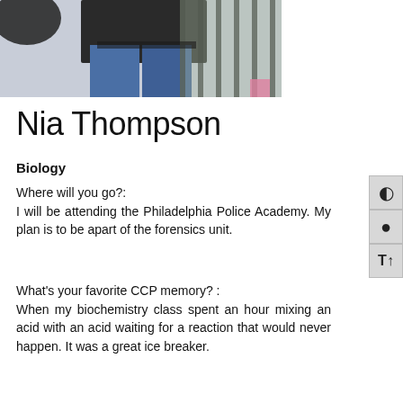[Figure (photo): Photo of a person wearing a black top and blue jeans, standing near a metal fence outdoors.]
Nia Thompson
Biology
Where will you go?: I will be attending the Philadelphia Police Academy. My plan is to be apart of the forensics unit.
What's your favorite CCP memory? : When my biochemistry class spent an hour mixing an acid with an acid waiting for a reaction that would never happen. It was a great ice breaker.